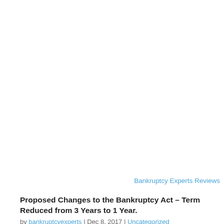Bankruptcy Experts Reviews
Proposed Changes to the Bankruptcy Act – Term Reduced from 3 Years to 1 Year.
by bankruptcyexperts | Dec 8, 2017 | Uncategorized